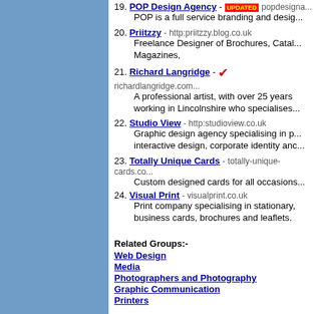19. POP Design Agency - UPDATED popdesigna... POP is a full service branding and desig...
20. Priitzzy - http:priitzzy.blog.co.uk Freelance Designer of Brochures, Catal... Magazines,
21. Richard Langridge - [checkmark] richardlangridge.com A professional artist, with over 25 years working in Lincolnshire who specialises...
22. Studio View - http:studioview.co.uk Graphic design agency specialising in p... interactive design, corporate identity anc...
23. Totally Unique Cards - totally-unique-cards.co... Custom designed cards for all occasions...
24. Visual Print - visualprint.co.uk Print company specialising in stationary, business cards, brochures and leaflets.
Related Groups:-
Web Design
Media
Photographers and Photography
Graphic Communication
Printers